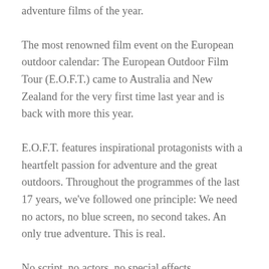adventure films of the year.
The most renowned film event on the European outdoor calendar: The European Outdoor Film Tour (E.O.F.T.) came to Australia and New Zealand for the very first time last year and is back with more this year.
E.O.F.T. features inspirational protagonists with a heartfelt passion for adventure and the great outdoors. Throughout the programmes of the last 17 years, we've followed one principle: We need no actors, no blue screen, no second takes. An only true adventure. This is real.
No script, no actors, no special effects.